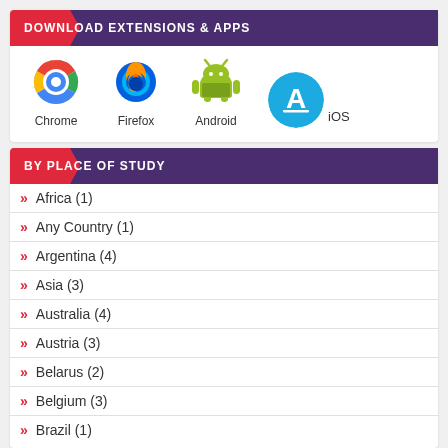DOWNLOAD EXTENSIONS & APPS
[Figure (illustration): Four app/extension icons: Chrome, Firefox, Android, iOS]
BY PLACE OF STUDY
Africa (1)
Any Country (1)
Argentina (4)
Asia (3)
Australia (4)
Austria (3)
Belarus (2)
Belgium (3)
Brazil (1)